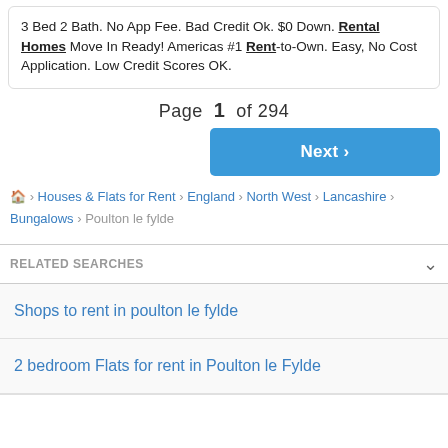3 Bed 2 Bath. No App Fee. Bad Credit Ok. $0 Down. Rental Homes Move In Ready! Americas #1 Rent-to-Own. Easy, No Cost Application. Low Credit Scores OK.
Page 1 of 294
Next >
🏠 › Houses & Flats for Rent › England › North West › Lancashire › Bungalows › Poulton le fylde
RELATED SEARCHES
Shops to rent in poulton le fylde
2 bedroom Flats for rent in Poulton le Fylde